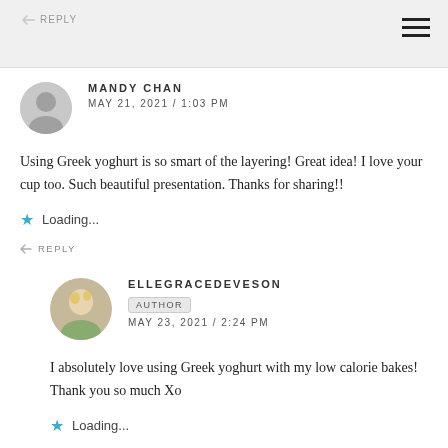↩ REPLY
MANDY CHAN
MAY 21, 2021 / 1:03 PM
Using Greek yoghurt is so smart of the layering! Great idea! I love your cup too. Such beautiful presentation. Thanks for sharing!!
★ Loading...
↩ REPLY
ELLEGRACEDEVESON
AUTHOR
MAY 23, 2021 / 2:24 PM
I absolutely love using Greek yoghurt with my low calorie bakes! Thank you so much Xo
★ Loading...